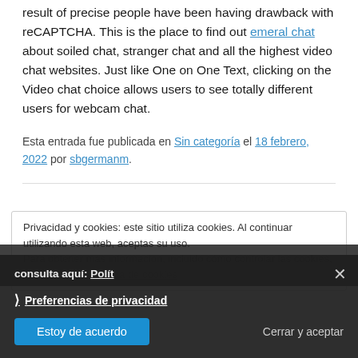...Omegle had many complaints lately from users as a which result of precise people have been having drawback with reCAPTCHA. This is the place to find out emeral chat about soiled chat, stranger chat and all the highest video chat websites. Just like One on One Text, clicking on the Video chat choice allows users to see totally different users for webcam chat.
Esta entrada fue publicada en Sin categoría el 18 febrero, 2022 por sbgermanm.
Privacidad y cookies: este sitio utiliza cookies. Al continuar utilizando esta web, aceptas su uso.
Para obtener más información, incluido cómo controlar las cookies, consulta aquí: Política de cookies
❯ Preferencias de privacidad
Estoy de acuerdo
Cerrar y aceptar